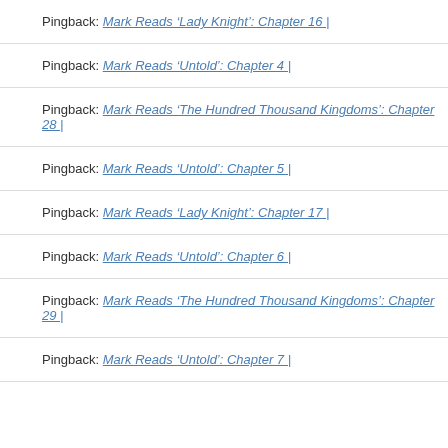Pingback: Mark Reads ‘Lady Knight’: Chapter 16 |
Pingback: Mark Reads ‘Untold’: Chapter 4 |
Pingback: Mark Reads ‘The Hundred Thousand Kingdoms’: Chapter 28 |
Pingback: Mark Reads ‘Untold’: Chapter 5 |
Pingback: Mark Reads ‘Lady Knight’: Chapter 17 |
Pingback: Mark Reads ‘Untold’: Chapter 6 |
Pingback: Mark Reads ‘The Hundred Thousand Kingdoms’: Chapter 29 |
Pingback: Mark Reads ‘Untold’: Chapter 7 |